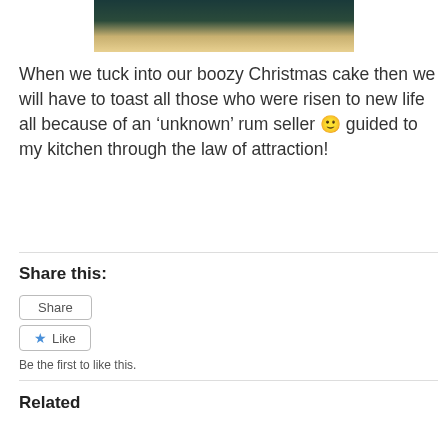[Figure (photo): Partial view of a Christmas cake or food item, dark teal and brown tones visible at top of page]
When we tuck into our boozy Christmas cake then we will have to toast all those who were risen to new life all because of an 'unknown' rum seller 🙂 guided to my kitchen through the law of attraction!
Share this:
Share
★ Like
Be the first to like this.
Related